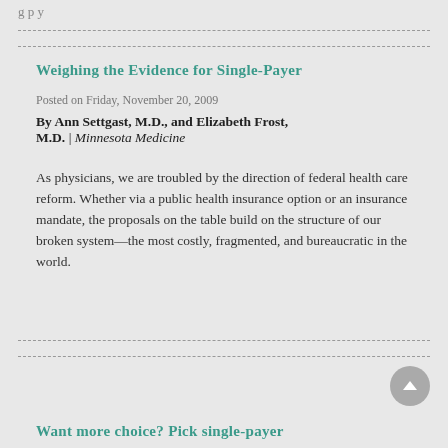g p y
Weighing the Evidence for Single-Payer
Posted on Friday, November 20, 2009
By Ann Settgast, M.D., and Elizabeth Frost, M.D. | Minnesota Medicine
As physicians, we are troubled by the direction of federal health care reform. Whether via a public health insurance option or an insurance mandate, the proposals on the table build on the structure of our broken system—the most costly, fragmented, and bureaucratic in the world.
Want more choice? Pick single-payer